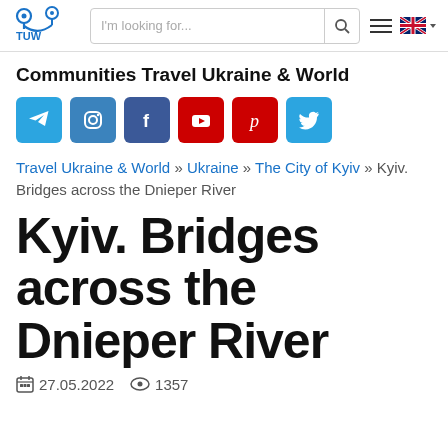[Figure (logo): Travel Ukraine & World (TUW) logo with map pin and navigation icons in blue]
I'm looking for...
Communities Travel Ukraine & World
[Figure (infographic): Row of social media icons: Telegram, Instagram, Facebook, YouTube, Pinterest, Twitter]
Travel Ukraine & World » Ukraine » The City of Kyiv » Kyiv. Bridges across the Dnieper River
Kyiv. Bridges across the Dnieper River
27.05.2022  1357